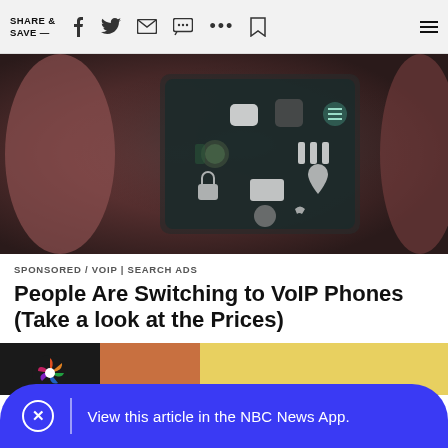SHARE & SAVE —
[Figure (photo): Close-up blurred photo of hands holding a smartphone showing app icons on screen]
SPONSORED / VOIP | SEARCH ADS
People Are Switching to VoIP Phones (Take a look at the Prices)
[Figure (photo): Partial NBC News article image visible at bottom, with NBC peacock logo]
View this article in the NBC News App.